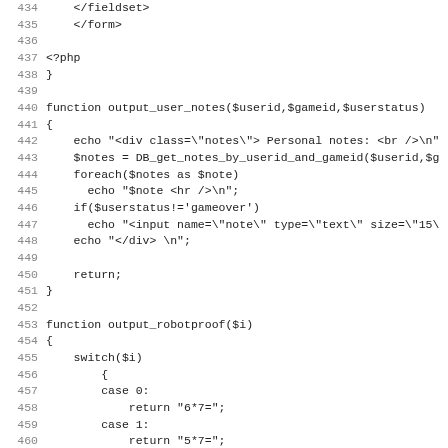[Figure (screenshot): Source code listing showing PHP functions output_user_notes and output_robotproof with line numbers 434-466]